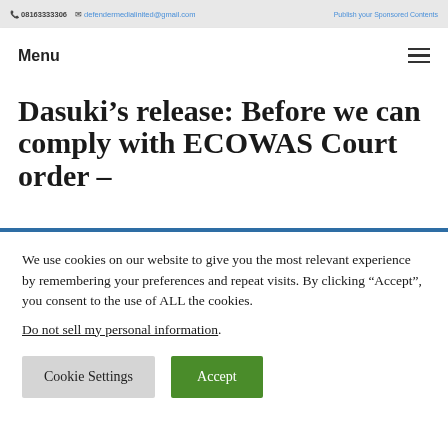08163333306  defendermedialinited@gmail.com  Publish your Sponsored Contents
Menu
Dasuki’s release: Before we can comply with ECOWAS Court order –
We use cookies on our website to give you the most relevant experience by remembering your preferences and repeat visits. By clicking “Accept”, you consent to the use of ALL the cookies.
Do not sell my personal information.
Cookie Settings  Accept